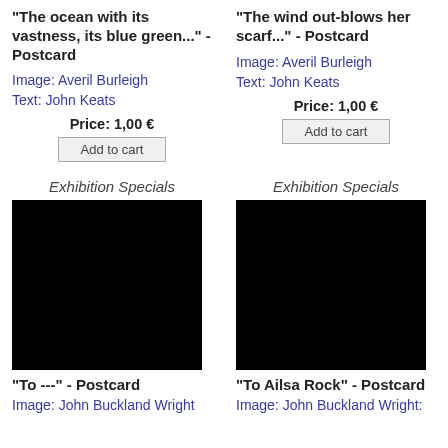"The ocean with its vastness, its blue green..." - Postcard
Image: Averil Burleigh
Text: John Keats
Price: 1,00 €
Add to cart
"The wind out-blows her scarf..." - Postcard
Image: Averil Burleigh
Text: John Keats
Price: 1,00 €
Add to cart
Exhibition Specials
[Figure (photo): Black product image for To --- Postcard]
"To ---" - Postcard
Image: John Buckland Wright
Exhibition Specials
[Figure (photo): Black product image for To Ailsa Rock Postcard]
"To Ailsa Rock" - Postcard
Image: John Buckland Wright: